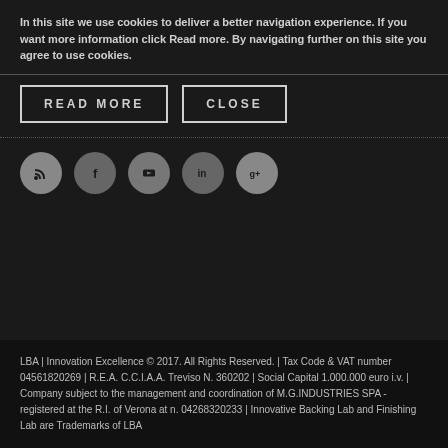In this site we use cookies to deliver a better navigation experience. If you want more information click Read more. By navigating further on this site you agree to use cookies.
READ MORE
CLOSE
[Figure (illustration): Row of five circular social media icons: RSS, Facebook, YouTube, LinkedIn, Google+]
LBA | Innovation Excellence © 2017. All Rights Reserved. | Tax Code & VAT number 04561820269 | R.E.A. C.C.I.A.A. Treviso N. 360202 | Social Capital 1.000.000 euro i.v. | Company subject to the management and coordination of M.G.INDUSTRIES SPA - registered at the R.I. of Verona at n. 04268320233 | Innovative Backing Lab and Finishing Lab are Trademarks of LBA